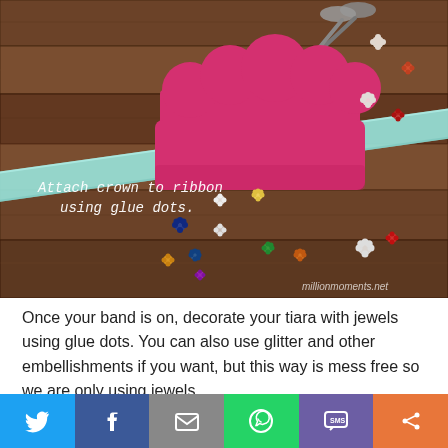[Figure (photo): Photo of a pink felt cloud-shaped crown/tiara on a wooden surface with a light blue ribbon running through it, scattered colorful flower embellishments, scissors visible at top, text overlay reads 'Attach crown to ribbon using glue dots.' Watermark: millionmoments.net]
Once your band is on, decorate your tiara with jewels using glue dots. You can also use glitter and other embellishments if you want, but this way is mess free so we are only using jewels.
[Figure (infographic): Social sharing bar with six buttons: Twitter (blue), Facebook (dark blue), Email (grey), WhatsApp (green), SMS (purple), More/share (orange)]